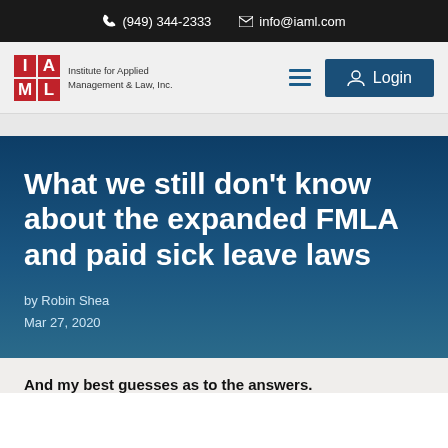(949) 344-2333  info@iaml.com
[Figure (logo): IAML - Institute for Applied Management & Law, Inc. logo with red grid squares and navigation elements including hamburger menu and Login button]
What we still don't know about the expanded FMLA and paid sick leave laws
by Robin Shea
Mar 27, 2020
And my best guesses as to the answers.